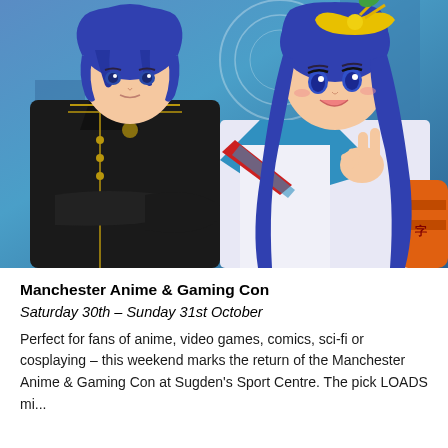[Figure (illustration): Anime-style illustration of two characters with blue hair. On the left, a young man in a dark military-style jacket with gold trim stands with arms crossed. On the right, a young woman in a blue and white sailor-style outfit with a red ribbon and yellow bow hair accessory makes a peace sign gesture. Colorful sci-fi/fantasy background.]
Manchester Anime & Gaming Con
Saturday 30th – Sunday 31st October
Perfect for fans of anime, video games, comics, sci-fi or cosplaying – this weekend marks the return of the Manchester Anime & Gaming Con at Sugden's Sport Centre. The pick LOADS mi...